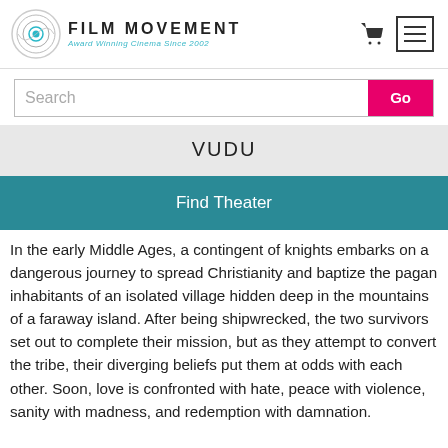FILM MOVEMENT Award Winning Cinema Since 2002
Search
VUDU
Find Theater
In the early Middle Ages, a contingent of knights embarks on a dangerous journey to spread Christianity and baptize the pagan inhabitants of an isolated village hidden deep in the mountains of a faraway island. After being shipwrecked, the two survivors set out to complete their mission, but as they attempt to convert the tribe, their diverging beliefs put them at odds with each other. Soon, love is confronted with hate, peace with violence, sanity with madness, and redemption with damnation.